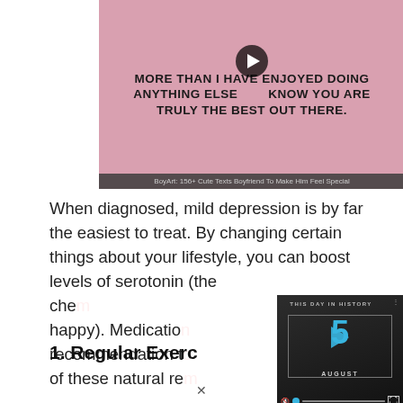[Figure (screenshot): Pink cherry blossom background with bold black uppercase quote text: 'MORE THAN I HAVE ENJOYED DOING ANYTHING ELSE. KNOW YOU ARE TRULY THE BEST OUT THERE.' with a play button overlay. Caption bar: 'BoyArt: 156+ Cute Texts Boyfriend To Make Him Feel Special']
When diagnosed, mild depression is by far the easiest to treat. By changing certain things about your lifestyle, you can boost levels of serotonin (the che... happy). Medicatio... recommendation t... of these natural re...
[Figure (screenshot): Video player overlay showing 'THIS DAY IN HISTORY' with a large blue number 5 and play button, month label 'AUGUST', with mute icon, progress bar with blue dot, and fullscreen icon. Dark/grayscale background with historical figures.]
1. Regular Exerc...